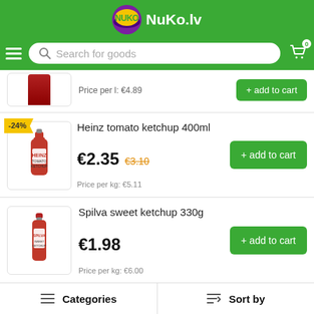NuKo.lv
Search for goods
Price per l: €4.89
Heinz tomato ketchup 400ml
€2.35 €3.10 Price per kg: €5.11
Spilva sweet ketchup 330g
€1.98 Price per kg: €6.00
Spilva classic ketchup 330g
Categories   Sort by